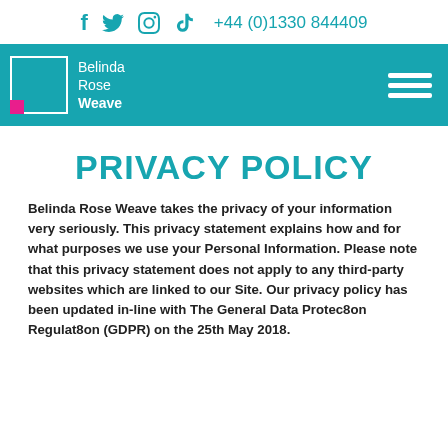f  y  (instagram)  V  +44 (0)1330 844409
[Figure (logo): Belinda Rose Weave logo with teal navigation bar and hamburger menu icon]
PRIVACY POLICY
Belinda Rose Weave takes the privacy of your information very seriously. This privacy statement explains how and for what purposes we use your Personal Information. Please note that this privacy statement does not apply to any third-party websites which are linked to our Site. Our privacy policy has been updated in-line with The General Data Protec8on Regulat8on (GDPR) on the 25th May 2018.